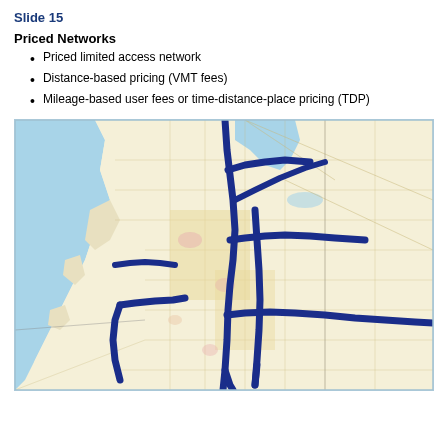Slide 15
Priced Networks
Priced limited access network
Distance-based pricing (VMT fees)
Mileage-based user fees or time-distance-place pricing (TDP)
[Figure (map): Map of the Seattle/Puget Sound region showing a priced limited access network highlighted with thick dark blue lines overlaid on a regional road and land use map. The map shows major highway corridors running north-south and east-west through the greater Seattle metropolitan area including corridors along I-5, I-405, SR-520, and other major routes.]